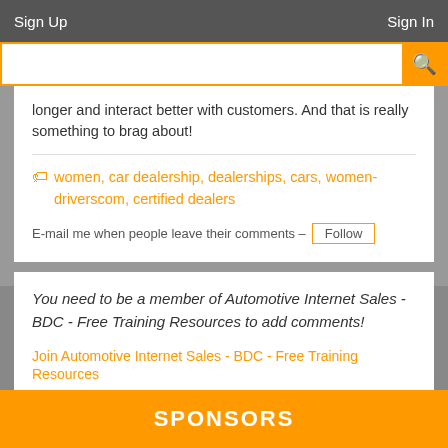Sign Up    Sign In
longer and interact better with customers. And that is really something to brag about!
women, car dealership, dealerships, cars, women-driverscom, certified dealers
E-mail me when people leave their comments – Follow
You need to be a member of Automotive Internet Sales - BDC - Free Training Resources to add comments!
Join Automotive Internet Sales - BDC - Free Training Resources
SPONSORS